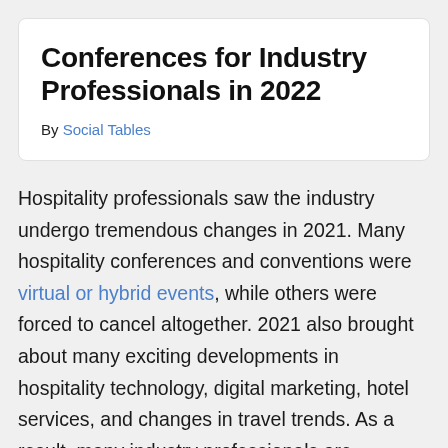Conferences for Industry Professionals in 2022
By Social Tables
Hospitality professionals saw the industry undergo tremendous changes in 2021. Many hospitality conferences and conventions were virtual or hybrid events, while others were forced to cancel altogether. 2021 also brought about many exciting developments in hospitality technology, digital marketing, hotel services, and changes in travel trends. As a result, many industry professionals are wondering what to